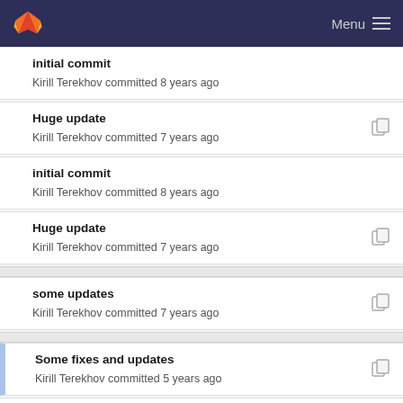Menu
initial commit
Kirill Terekhov committed 8 years ago
Huge update
Kirill Terekhov committed 7 years ago
initial commit
Kirill Terekhov committed 8 years ago
Huge update
Kirill Terekhov committed 7 years ago
some updates
Kirill Terekhov committed 7 years ago
Some fixes and updates
Kirill Terekhov committed 5 years ago
initial commit
Kirill Terekhov committed 8 years ago